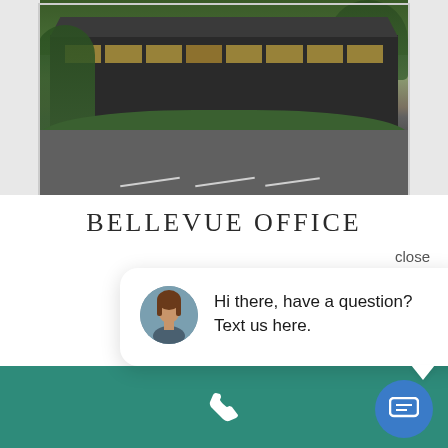[Figure (photo): Office building photo showing a modern mid-century style building with dark roof, large windows, trees and landscaping, and a parking lot in the foreground]
BELLEVUE OFFICE
close
[Figure (screenshot): Chat popup widget showing a woman's avatar photo and the text: Hi there, have a question? Text us here.]
[Figure (photo): Partial bottom section showing another building or image below the chat popup]
[Figure (infographic): Teal/green footer bar with a white phone icon in the center and an accessibility icon button on the right]